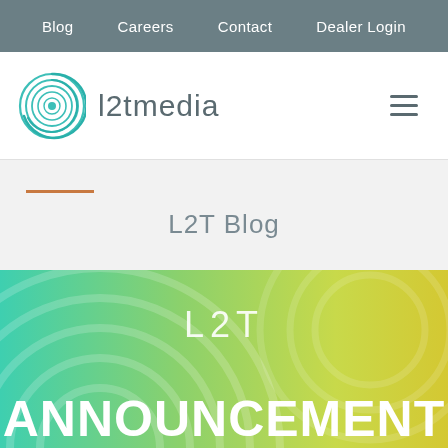Blog  Careers  Contact  Dealer Login
[Figure (logo): l2tmedia logo with teal concentric circle/spiral icon and text 'l2tmedia' in gray]
L2T Blog
[Figure (illustration): Banner image with teal to yellow-green gradient background, decorative concentric arc watermarks, text 'L2T' above 'ANNOUNCEMENT']